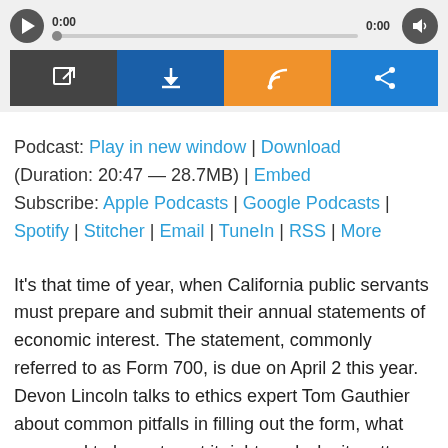[Figure (screenshot): Audio podcast player widget with play button, progress bar showing 0:00, volume button, and four icon buttons: external link (dark gray), download (dark blue), RSS feed (orange), share (bright blue)]
Podcast: Play in new window | Download (Duration: 20:47 — 28.7MB) | Embed Subscribe: Apple Podcasts | Google Podcasts | Spotify | Stitcher | Email | TuneIn | RSS | More
It's that time of year, when California public servants must prepare and submit their annual statements of economic interest. The statement, commonly referred to as Form 700, is due on April 2 this year. Devon Lincoln talks to ethics expert Tom Gauthier about common pitfalls in filling out the form, what you need to know to get it right, and why it matters.